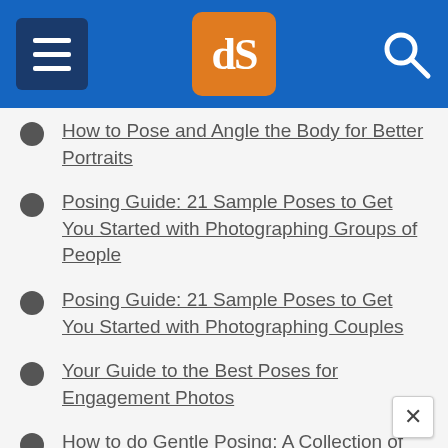dPS navigation header
How to Pose and Angle the Body for Better Portraits
Posing Guide: 21 Sample Poses to Get You Started with Photographing Groups of People
Posing Guide: 21 Sample Poses to Get You Started with Photographing Couples
Your Guide to the Best Poses for Engagement Photos
How to do Gentle Posing: A Collection of Prompts to Get You Started
Tips for Posing Large Families and Groups
How to Pose People for Headshots